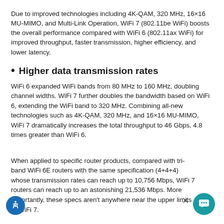Due to improved technologies including 4K-QAM, 320 MHz, 16×16 MU-MIMO, and Multi-Link Operation, WiFi 7 (802.11be WiFi) boosts the overall performance compared with WiFi 6 (802.11ax WiFi) for improved throughput, faster transmission, higher efficiency, and lower latency.
• Higher data transmission rates
WiFi 6 expanded WiFi bands from 80 MHz to 160 MHz, doubling channel widths. WiFi 7 further doubles the bandwidth based on WiFi 6, extending the WiFi band to 320 MHz. Combining all-new technologies such as 4K-QAM, 320 MHz, and 16×16 MU-MIMO, WiFi 7 dramatically increases the total throughput to 46 Gbps, 4.8 times greater than WiFi 6.
When applied to specific router products, compared with tri-band WiFi 6E routers with the same specification (4+4+4) whose transmission rates can reach up to 10,756 Mbps, WiFi 7 routers can reach up to an astonishing 21,536 Mbps. More importantly, these specs aren't anywhere near the upper limits of WiFi 7.